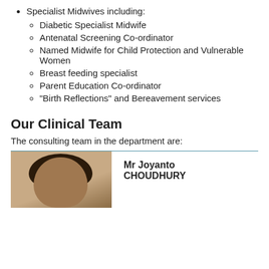Specialist Midwives including:
Diabetic Specialist Midwife
Antenatal Screening Co-ordinator
Named Midwife for Child Protection and Vulnerable Women
Breast feeding specialist
Parent Education Co-ordinator
"Birth Reflections" and Bereavement services
Our Clinical Team
The consulting team in the department are:
[Figure (photo): Portrait photo of Mr Joyanto Choudhury]
Mr Joyanto CHOUDHURY